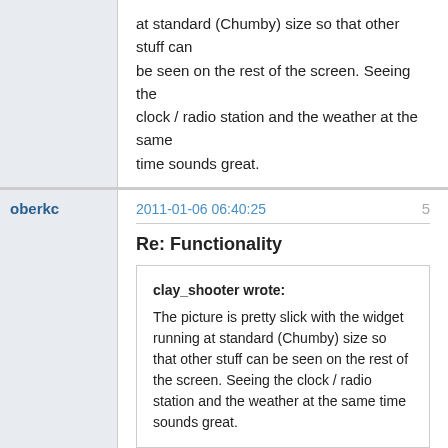at standard  (Chumby) size so that other stuff can be seen on the rest of the screen.  Seeing the clock / radio station and the weather at the same time sounds great.
oberkc
2011-01-06 06:40:25
5
Re: Functionality
clay_shooter wrote:
The picture is pretty slick with the widget running at standard  (Chumby) size so that other stuff can be seen on the rest of the screen.  Seeing the clock / radio station and the weather at the same time sounds great.
It is the single-most feature that set the Dash above the various chumby variants, in my mind.